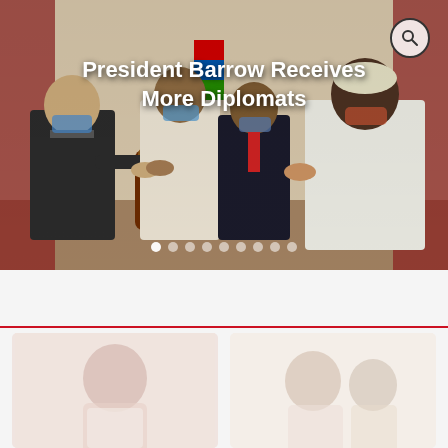[Figure (photo): Hero image showing diplomats meeting with President Barrow in a formal setting. Four men wearing masks are shaking hands in front of official chairs and flags. One man in a dark suit, one in a light traditional outfit, one in a suit with tie, and one in a white traditional outfit.]
President Barrow Receives More Diplomats
LATEST NEWS >
[Figure (photo): Faded/preview thumbnail photo of a woman (left card) — part of the latest news section.]
[Figure (photo): Faded/preview thumbnail photo of men (right card) — part of the latest news section.]